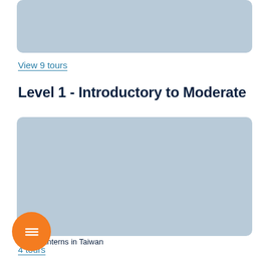[Figure (photo): Top image placeholder block (light blue-grey rectangle, partially visible, cropped at top)]
View 9 tours
Level 1 - Introductory to Moderate
[Figure (photo): Lanterns in Taiwan — light blue-grey placeholder rectangle]
4 tours
S...